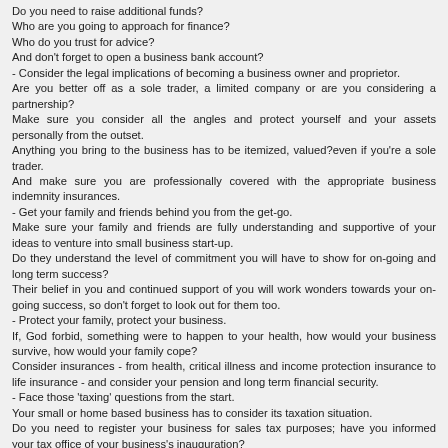Do you need to raise additional funds?
Who are you going to approach for finance?
Who do you trust for advice?
And don't forget to open a business bank account?
- Consider the legal implications of becoming a business owner and proprietor.
Are you better off as a sole trader, a limited company or are you considering a partnership?
Make sure you consider all the angles and protect yourself and your assets personally from the outset.
Anything you bring to the business has to be itemized, valued?even if you're a sole trader.
And make sure you are professionally covered with the appropriate business indemnity insurances.
- Get your family and friends behind you from the get-go.
Make sure your family and friends are fully understanding and supportive of your ideas to venture into small business start-up.
Do they understand the level of commitment you will have to show for on-going and long term success?
Their belief in you and continued support of you will work wonders towards your on-going success, so don't forget to look out for them too.
- Protect your family, protect your business.
If, God forbid, something were to happen to your health, how would your business survive, how would your family cope?
Consider insurances - from health, critical illness and income protection insurance to life insurance - and consider your pension and long term financial security.
- Face those 'taxing' questions from the start.
Your small or home based business has to consider its taxation situation.
Do you need to register your business for sales tax purposes; have you informed your tax office of your business's inauguration?
Do you have a good tax professional lined up to guide and assist you?